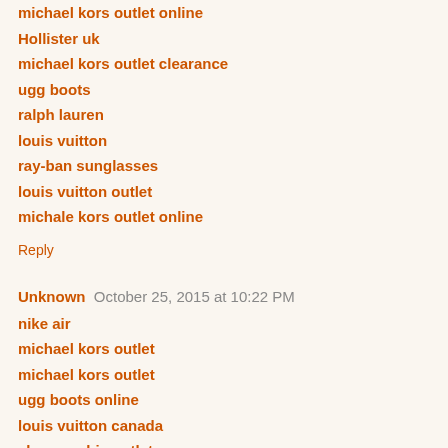michael kors outlet online
Hollister uk
michael kors outlet clearance
ugg boots
ralph lauren
louis vuitton
ray-ban sunglasses
louis vuitton outlet
michale kors outlet online
Reply
Unknown  October 25, 2015 at 10:22 PM
nike air
michael kors outlet
michael kors outlet
ugg boots online
louis vuitton canada
abercrombie outlet
burberry outlet
adidas super star
pirate system